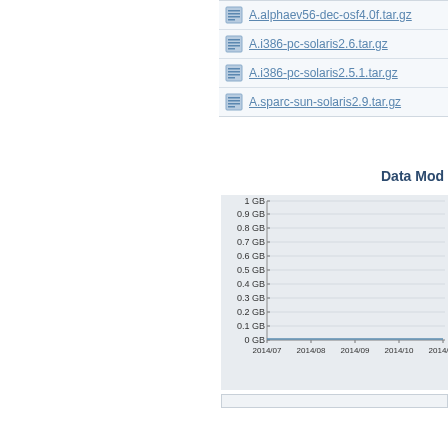A.alphaev56-dec-osf4.0f.tar.gz
A.i386-pc-solaris2.6.tar.gz
A.i386-pc-solaris2.5.1.tar.gz
A.sparc-sun-solaris2.9.tar.gz
Data Mod
[Figure (line-chart): Line chart showing data volume in GB from 2014/07 to 2014/11, y-axis from 0 GB to 1 GB in 0.1 GB increments. Values appear to be near 0 GB throughout.]